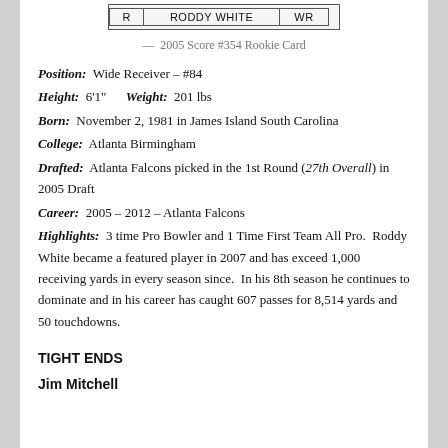[Figure (other): 2005 Score #354 Rookie Card showing player row with columns R, RODDY WHITE, WR]
— 2005 Score #354 Rookie Card
Position: Wide Receiver – #84
Height: 6'1"   Weight: 201 lbs
Born: November 2, 1981 in James Island South Carolina
College: Atlanta Birmingham
Drafted: Atlanta Falcons picked in the 1st Round (27th Overall) in 2005 Draft
Career: 2005 – 2012 – Atlanta Falcons
Highlights: 3 time Pro Bowler and 1 Time First Team All Pro. Roddy White became a featured player in 2007 and has exceed 1,000 receiving yards in every season since. In his 8th season he continues to dominate and in his career has caught 607 passes for 8,514 yards and 50 touchdowns.
TIGHT ENDS
Jim Mitchell